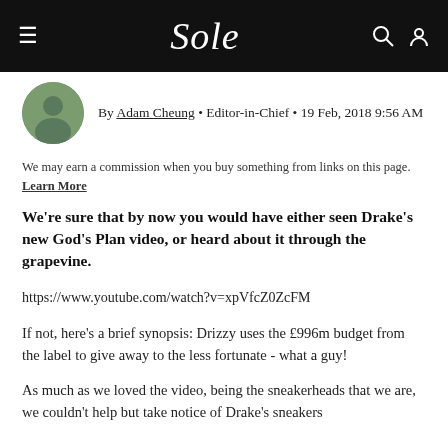Sole
[Figure (photo): Circular avatar photo of author Adam Cheung]
By Adam Cheung • Editor-in-Chief • 19 Feb, 2018 9:56 AM
We may earn a commission when you buy something from links on this page. Learn More
We're sure that by now you would have either seen Drake's new God's Plan video, or heard about it through the grapevine.
https://www.youtube.com/watch?v=xpVfcZ0ZcFM
If not, here's a brief synopsis: Drizzy uses the £996m budget from the label to give away to the less fortunate - what a guy!
As much as we loved the video, being the sneakerheads that we are, we couldn't help but take notice of Drake's sneakers...